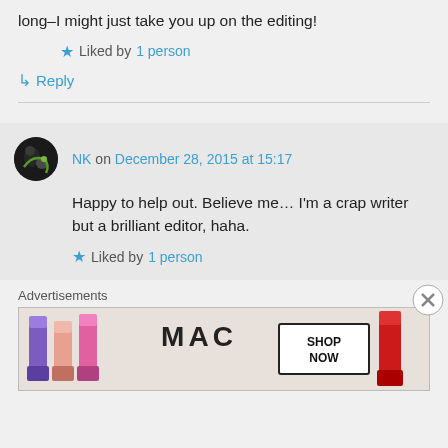long–I might just take you up on the editing!
★ Liked by 1 person
↳ Reply
NK on December 28, 2015 at 15:17
Happy to help out. Believe me… I'm a crap writer but a brilliant editor, haha.
★ Liked by 1 person
Advertisements
[Figure (other): MAC Cosmetics advertisement banner showing lipsticks in purple, pink, coral colors with MAC logo and SHOP NOW button]